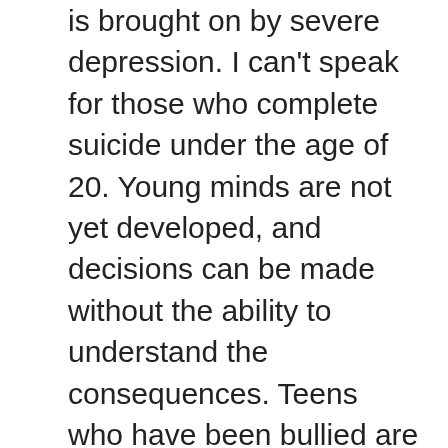is brought on by severe depression. I can't speak for those who complete suicide under the age of 20. Young minds are not yet developed, and decisions can be made without the ability to understand the consequences. Teens who have been bullied are at greater risk of suicide. For those who make it into the adult world, if they are mentally healthy, they can usually overcome most of life's problems. When the problem is within, however, the obstacles many of us face may become intolerable. In most cases of suicide, the person who completes suicide struggled with mental illness, off and on, from an early age."
Margaret and I would have you remember